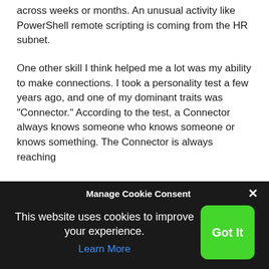across weeks or months. An unusual activity like PowerShell remote scripting is coming from the HR subnet.
One other skill I think helped me a lot was my ability to make connections. I took a personality test a few years ago, and one of my dominant traits was “Connector.” According to the test, a Connector always knows someone who knows someone or knows something. The Connector is always reaching
Manage Cookie Consent
This website uses cookies to improve your experience.
Learn More
Got It